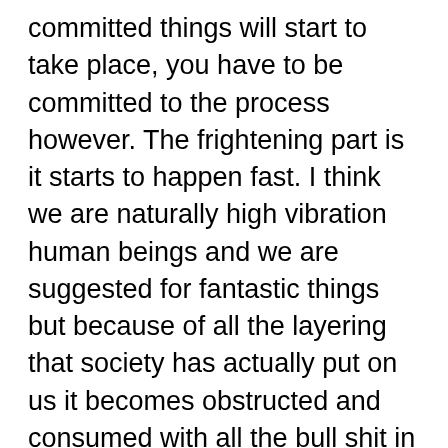committed things will start to take place, you have to be committed to the process however. The frightening part is it starts to happen fast. I think we are naturally high vibration human beings and we are suggested for fantastic things but because of all the layering that society has actually put on us it becomes obstructed and consumed with all the bull shit in this world. This is why it can take a while for you understand your true self. Because there's so much layering that's obstructing the true you from happening and because of this it makes the journey that far more extreme. The more layers you have the more intense your journey will be because of all the layering inside you. Answering the question for Spiritual Awakening Hack: Ark is hard and will